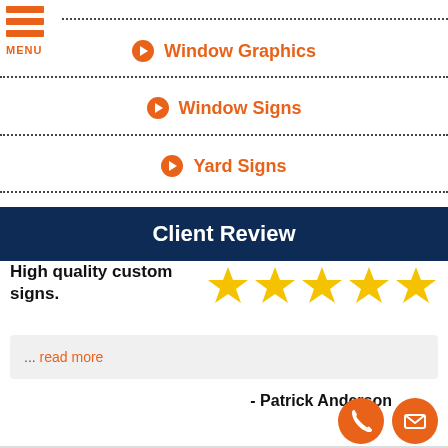Window Graphics
Window Signs
Yard Signs
Client Review
High quality custom signs.
... read more
- Patrick Anderson